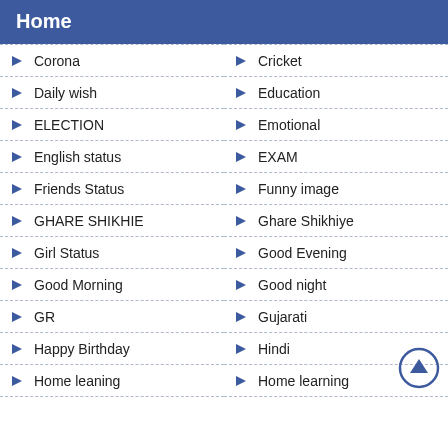Home
Corona
Cricket
Daily wish
Education
ELECTION
Emotional
English status
EXAM
Friends Status
Funny image
GHARE SHIKHIE
Ghare Shikhiye
Girl Status
Good Evening
Good Morning
Good night
GR
Gujarati
Happy Birthday
Hindi
Home leaning
Home learning